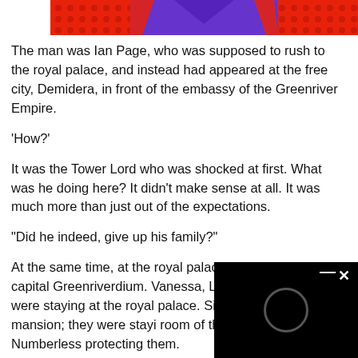[Figure (illustration): Decorative banner image with red dotted pattern on left and right sides, purple shape in center, and orange/red flame shapes at top corners]
The man was Ian Page, who was supposed to rush to the royal palace, and instead had appeared at the free city, Demidera, in front of the embassy of the Greenriver Empire.
‘How?’
It was the Tower Lord who was shocked at first. What was he doing here? It didn’t make sense at all. It was much more than just out of the expectations.
“Did he indeed, give up his family?”
At the same time, at the royal palace located at the capital Greenriverdium. Vanessa, Ledio and Douglas were staying at the royal palace. Sinc invaded the mansion; they were stayi room of the royal palace. Numberless protecting them.
[Figure (other): Black overlay box with a circle icon and X close button, partially covering the bottom-right of the page]